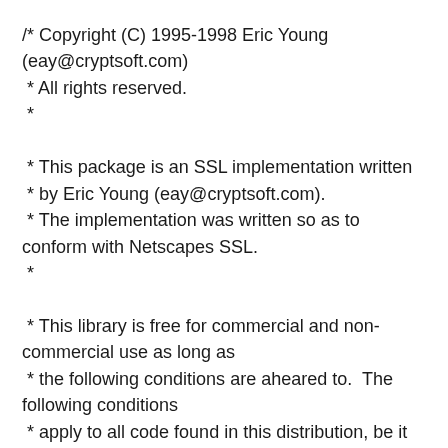/* Copyright (C) 1995-1998 Eric Young (eay@cryptsoft.com)
 * All rights reserved.
 *
 * This package is an SSL implementation written
 * by Eric Young (eay@cryptsoft.com).
 * The implementation was written so as to conform with Netscapes SSL.
 *
 * This library is free for commercial and non-commercial use as long as
 * the following conditions are aheared to.  The following conditions
 * apply to all code found in this distribution, be it the RC4, RSA,
 * lhash, DES, etc., code; not just the SSL code.  The SSL documentation
 * included with this distribution is covered by the same